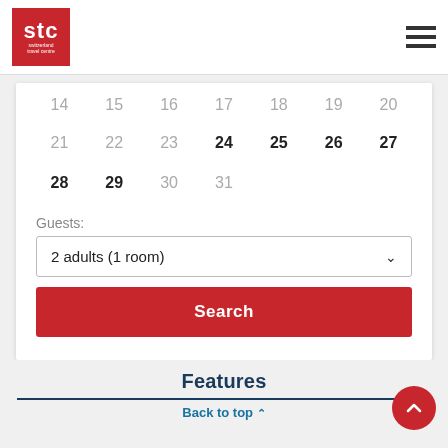[Figure (logo): STC Switzerland Travel Centre logo — red square with white text 'stc' and 'switzerland travel centre' below]
[Figure (illustration): Hamburger menu icon — three horizontal dark lines]
| 14 | 15 | 16 | 17 | 18 | 19 | 20 |
| 21 | 22 | 23 | 24 | 25 | 26 | 27 |
| 28 | 29 | 30 | 31 |  |  |  |
Guests:
2 adults (1 room)
Search
Features
Back to top ^